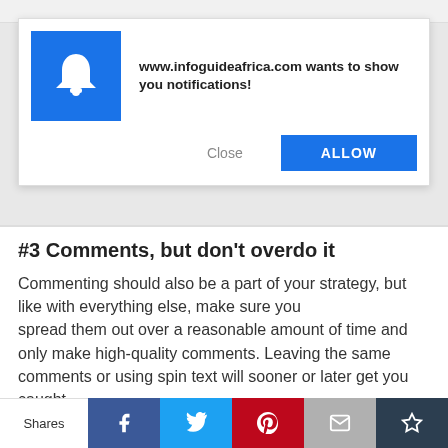browser address bar (partial)
[Figure (screenshot): Browser notification popup from www.infoguideafrica.com with a blue bell icon, text 'www.infoguideafrica.com wants to show you notifications!', a Close button and a blue ALLOW button.]
#3 Comments, but don't overdo it
Commenting should also be a part of your strategy, but like with everything else, make sure you spread them out over a reasonable amount of time and only make high-quality comments. Leaving the same comments or using spin text will sooner or later get you caught.
[Figure (infographic): Social share bar with Shares label, Facebook, Twitter, Pinterest, Email, and Crown/bookmark buttons.]